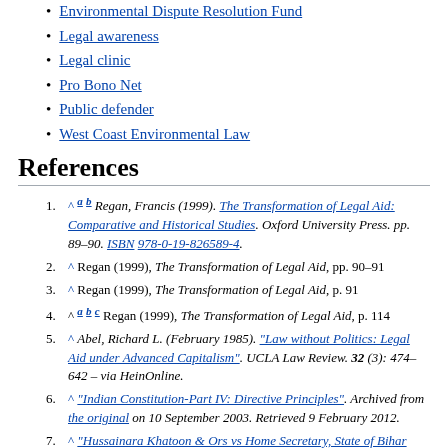Environmental Dispute Resolution Fund
Legal awareness
Legal clinic
Pro Bono Net
Public defender
West Coast Environmental Law
References
^ a b Regan, Francis (1999). The Transformation of Legal Aid: Comparative and Historical Studies. Oxford University Press. pp. 89–90. ISBN 978-0-19-826589-4.
^ Regan (1999), The Transformation of Legal Aid, pp. 90–91
^ Regan (1999), The Transformation of Legal Aid, p. 91
^ a b c Regan (1999), The Transformation of Legal Aid, p. 114
^ Abel, Richard L. (February 1985). "Law without Politics: Legal Aid under Advanced Capitalism". UCLA Law Review. 32 (3): 474–642 – via HeinOnline.
^ "Indian Constitution-Part IV: Directive Principles". Archived from the original on 10 September 2003. Retrieved 9 February 2012.
^ "Hussainara Khatoon & Ors vs Home Secretary, State of Bihar (1979 AIR 1369, 1979 SCR (3) 532)"